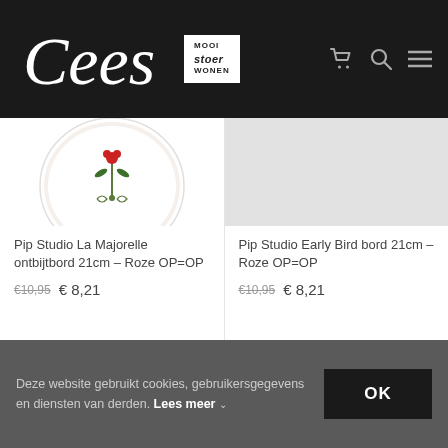Cees Mooi Stoer Wonen
[Figure (photo): Pip Studio La Majorelle plate with bird and floral design on white background]
Pip Studio La Majorelle ontbijtbord 21cm – Roze OP=OP
€10,95  € 8,21
[Figure (photo): Pip Studio Early Bird bord placeholder grey background]
Pip Studio Early Bird bord 21cm – Roze OP=OP
€10,95  € 8,21
Deze website gebruikt cookies, gebruikersgegevens en diensten van derden. Lees meer ∨